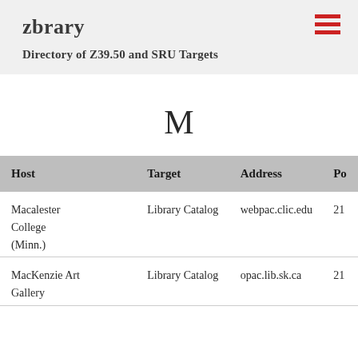zbrary
Directory of Z39.50 and SRU Targets
M
| Host | Target | Address | Port |
| --- | --- | --- | --- |
| Macalester College (Minn.) | Library Catalog | webpac.clic.edu | 21 |
| MacKenzie Art Gallery | Library Catalog | opac.lib.sk.ca | 21 |